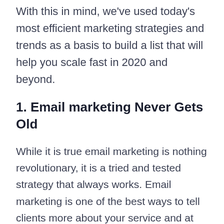With this in mind, we've used today's most efficient marketing strategies and trends as a basis to build a list that will help you scale fast in 2020 and beyond.
1. Email marketing Never Gets Old
While it is true email marketing is nothing revolutionary, it is a tried and tested strategy that always works. Email marketing is one of the best ways to tell clients more about your service and at the same time show that you really care about it. In fact, a study by McKinsey & Company revealed that email is a significantly more effective way to acquire customers than social media. Let's not forget that, besides being an extremely valuable marketing technique for any business, email marketing is also cost-effective.